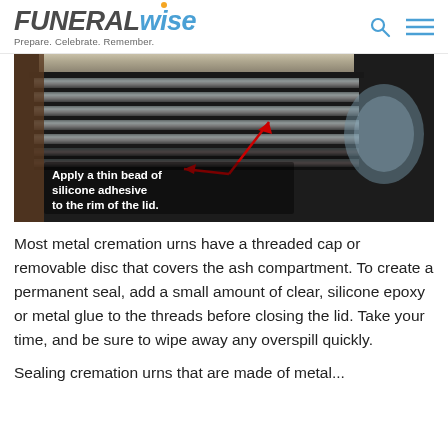FUNERALwise — Prepare. Celebrate. Remember.
[Figure (photo): Close-up photograph of a metal cremation urn lid with threaded ridges. A red arrow points to the rim area. White text overlay reads: 'Apply a thin bead of silicone adhesive to the rim of the lid.']
Most metal cremation urns have a threaded cap or removable disc that covers the ash compartment. To create a permanent seal, add a small amount of clear, silicone epoxy or metal glue to the threads before closing the lid. Take your time, and be sure to wipe away any overspill quickly.
Sealing cremation urns that are made of metal...